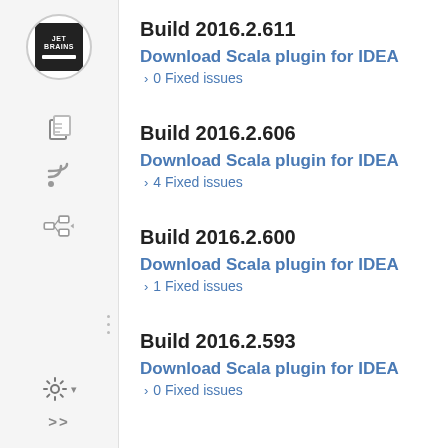Build 2016.2.611
Download Scala plugin for IDEA
0 Fixed issues
Build 2016.2.606
Download Scala plugin for IDEA
4 Fixed issues
Build 2016.2.600
Download Scala plugin for IDEA
1 Fixed issues
Build 2016.2.593
Download Scala plugin for IDEA
0 Fixed issues